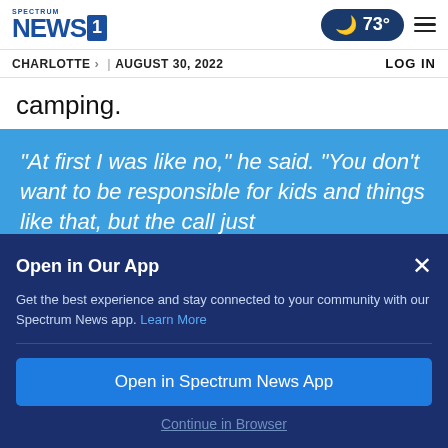Spectrum NEWS1 | 73° | Charlotte > | August 30, 2022 | LOG IN
camping.
“At first I was like no,” he said. “You don’t want to be responsible for kids and things like that, but the call just
Open in Our App
Get the best experience and stay connected to your community with our Spectrum News app. Learn More
Open in Spectrum News App
Continue in Browser